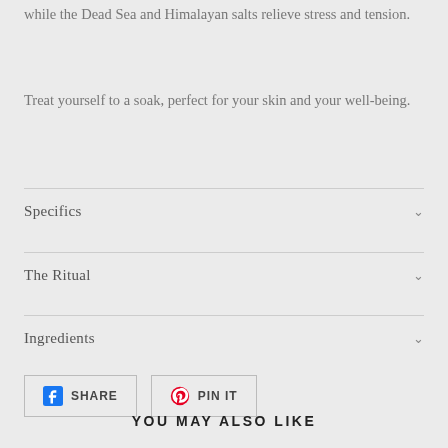while the Dead Sea and Himalayan salts relieve stress and tension.
Treat yourself to a soak, perfect for your skin and your well-being.
Specifics
The Ritual
Ingredients
SHARE
PIN IT
YOU MAY ALSO LIKE